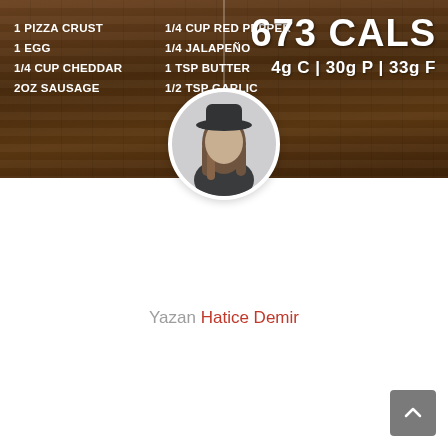[Figure (infographic): Dark wood-textured banner showing recipe ingredients on the left and calorie/macro information on the right. Left column lists: 1 PIZZA CRUST, 1 EGG, 1/4 CUP CHEDDAR, 2oz SAUSAGE. Middle column lists: 1/4 CUP RED PEPPER, 1/4 JALAPEÑO, 1 TSP BUTTER, 1/2 TSP GARLIC. Right side shows 673 CALS and 4g C | 30g P | 33g F. A circular profile photo of a person wearing a black hat is centered, overlapping the banner bottom.]
Yazan Hatice Demir